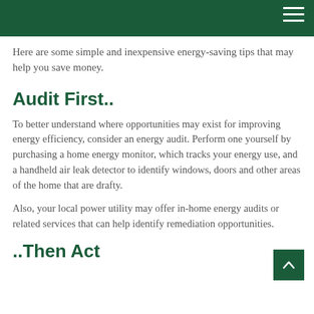Here are some simple and inexpensive energy-saving tips that may help you save money.
Audit First..
To better understand where opportunities may exist for improving energy efficiency, consider an energy audit. Perform one yourself by purchasing a home energy monitor, which tracks your energy use, and a handheld air leak detector to identify windows, doors and other areas of the home that are drafty.
Also, your local power utility may offer in-home energy audits or related services that can help identify remediation opportunities.
..Then Act